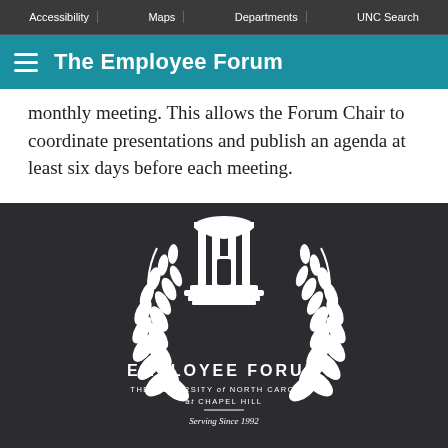Accessibility | Maps | Departments | UNC Search
The Employee Forum
monthly meeting. This allows the Forum Chair to coordinate presentations and publish an agenda at least six days before each meeting.
[Figure (logo): Employee Forum logo: UNC Old Well building flanked by laurel branches. Text reads EMPLOYEE FORUM / THE UNIVERSITY of NORTH CAROLINA at CHAPEL HILL / — / Serving Since 1992]